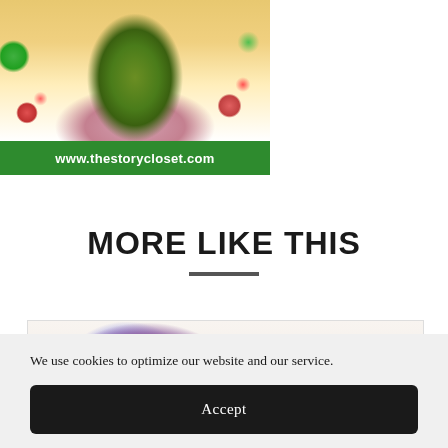[Figure (photo): Advertisement image showing a person with green hair/costume and flowers, with URL www.thestorycloset.com on a green banner]
MORE LIKE THIS
[Figure (illustration): Children's hand-drawn illustration showing a pink/purple winged creature with colorful rainbow-colored tail or wings, drawn with colored pencils on white paper]
We use cookies to optimize our website and our service.
Accept